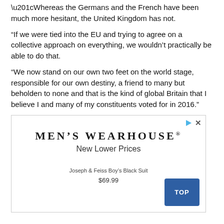“Whereas the Germans and the French have been much more hesitant, the United Kingdom has not.
“If we were tied into the EU and trying to agree on a collective approach on everything, we wouldn’t practically be able to do that.
“We now stand on our own two feet on the world stage, responsible for our own destiny, a friend to many but beholden to none and that is the kind of global Britain that I believe I and many of my constituents voted for in 2016.”
[Figure (other): Men's Wearhouse advertisement showing brand name, 'New Lower Prices' tagline, Joseph & Feiss Boy's Black Suit at $69.99, with a blue TOP button in the bottom right corner.]